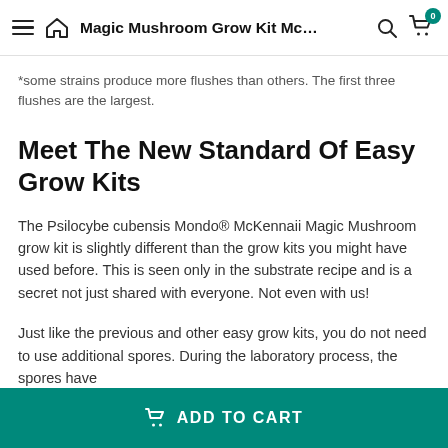Magic Mushroom Grow Kit Mc...
*some strains produce more flushes than others. The first three flushes are the largest.
Meet The New Standard Of Easy Grow Kits
The Psilocybe cubensis Mondo® McKennaii Magic Mushroom grow kit is slightly different than the grow kits you might have used before. This is seen only in the substrate recipe and is a secret not just shared with everyone. Not even with us!
Just like the previous and other easy grow kits, you do not need to use additional spores. During the laboratory process, the spores have
ADD TO CART